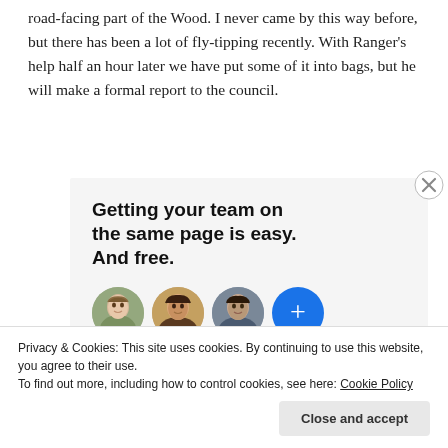road-facing part of the Wood. I never came by this way before, but there has been a lot of fly-tipping recently. With Ranger's help half an hour later we have put some of it into bags, but he will make a formal report to the council.
[Figure (infographic): Advertisement banner with bold text: 'Getting your team on the same page is easy. And free.' with three circular portrait avatars and a blue plus button.]
Privacy & Cookies: This site uses cookies. By continuing to use this website, you agree to their use.
To find out more, including how to control cookies, see here: Cookie Policy
Close and accept